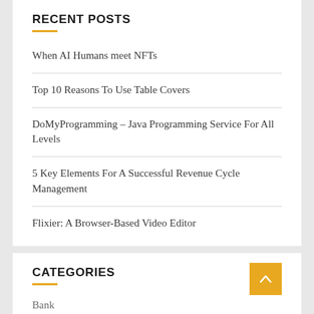RECENT POSTS
When AI Humans meet NFTs
Top 10 Reasons To Use Table Covers
DoMyProgramming – Java Programming Service For All Levels
5 Key Elements For A Successful Revenue Cycle Management
Flixier: A Browser-Based Video Editor
CATEGORIES
Bank